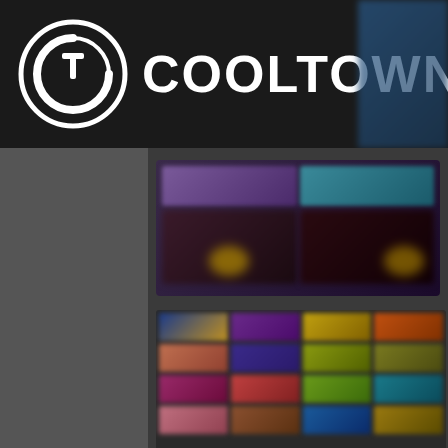[Figure (screenshot): Screenshot of CoolTown website with logo, navigation header, and blurred game/content grid panels on dark background]
COOLTOWN
[Figure (infographic): Blurred content grid showing multiple colorful game thumbnails arranged in rows]